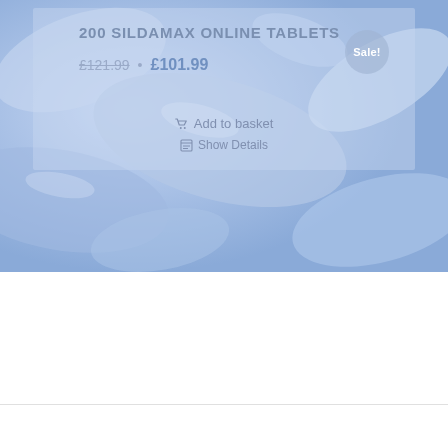[Figure (photo): Close-up photo of blue/white pharmaceutical tablets (Sildamax) as background image filling the top portion of the page]
200 SILDAMAX ONLINE TABLETS
£121.99 • £101.99
Sale!
Add to basket
Show Details